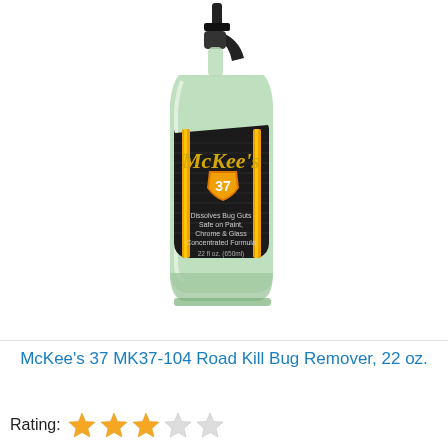[Figure (photo): McKee's 37 Road Kill Bug Remover spray bottle, 22 oz, with black label featuring gold script logo and orange/yellow stripe design. Bottle is clear with green liquid inside, with a black trigger sprayer on top.]
McKee's 37 MK37-104 Road Kill Bug Remover, 22 oz.
Rating: